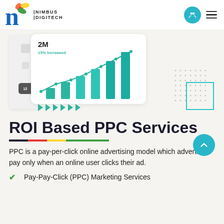[Figure (logo): Nimbus Digitech logo with colorful leaf/peacock icon, blue 'n', and NIMBUS DIGITECH text]
[Figure (screenshot): Dashboard screenshot showing a bar chart with '2M' and '15% Increased' label, teal rising bars with a trend line]
ROI Based PPC Services
PPC is a pay-per-click online advertising model which advertisers pay only when an online user clicks their ad.
Pay-Pay-Click (PPC) Marketing Services